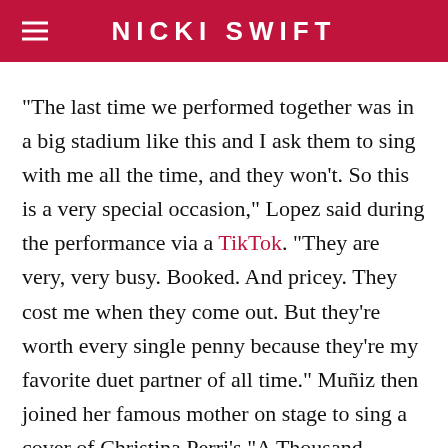NICKI SWIFT
"The last time we performed together was in a big stadium like this and I ask them to sing with me all the time, and they won't. So this is a very special occasion," Lopez said during the performance via a TikTok. "They are very, very busy. Booked. And pricey. They cost me when they come out. But they're worth every single penny because they're my favorite duet partner of all time." Muñiz then joined her famous mother on stage to sing a cover of Christina Perri's "A Thousand Years." Muñiz even performed with a bedazzled rainbow